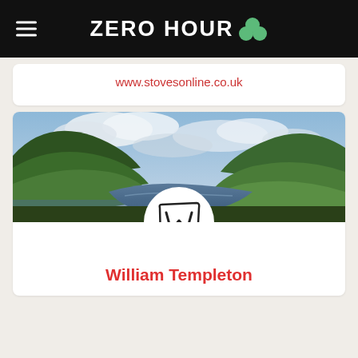ZERO HOUR
www.stovesonline.co.uk
[Figure (photo): Scenic landscape photo of a lake surrounded by green hills and mountains under a cloudy sky, with a circular white avatar containing a hand-drawn W logo overlaid at the bottom center]
William Templeton